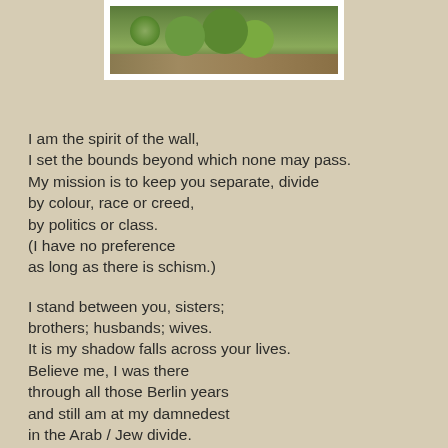[Figure (photo): A photograph showing green shrubs or bushes with some brown ground visible, set in a white-bordered frame at the top of the page.]
I am the spirit of the wall,
I set the bounds beyond which none may pass.
My mission is to keep you separate, divide
by colour, race or creed,
by politics or class.
(I have no preference
as long as there is schism.)

I stand between you, sisters;
brothers; husbands; wives.
It is my shadow falls across your lives.
Believe me, I was there
through all those Berlin years
and still am at my damnedest
in the Arab / Jew divide.

I am the spirit that immured the Saint, the priest,